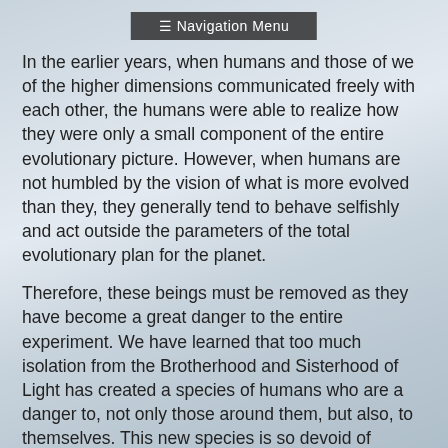≡ Navigation Menu
In the earlier years, when humans and those of we of the higher dimensions communicated freely with each other, the humans were able to realize how they were only a small component of the entire evolutionary picture. However, when humans are not humbled by the vision of what is more evolved than they, they generally tend to behave selfishly and act outside the parameters of the total evolutionary plan for the planet.
Therefore, these beings must be removed as they have become a great danger to the entire experiment. We have learned that too much isolation from the Brotherhood and Sisterhood of Light has created a species of humans who are a danger to, not only those around them, but also, to themselves. This new species is so devoid of spiritual awareness that they are totally unable to perceive themselves as being a small component of a larger system. They perceive themselves as miniature suns around which the rest of life…